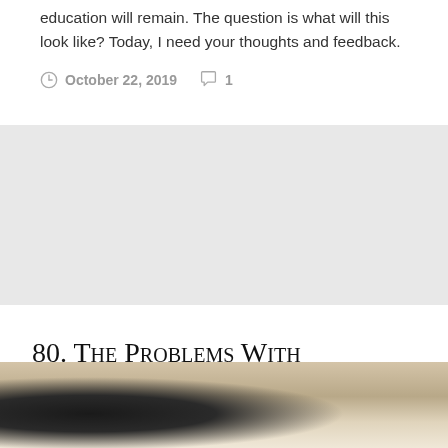education will remain. The question is what will this look like? Today, I need your thoughts and feedback.
October 22, 2019  1
80. The Problems With Schooling (And Some Solutions)
[Figure (photo): Partial view of a person in dark clothing, photographed indoors with a light background, cropped at bottom of page.]